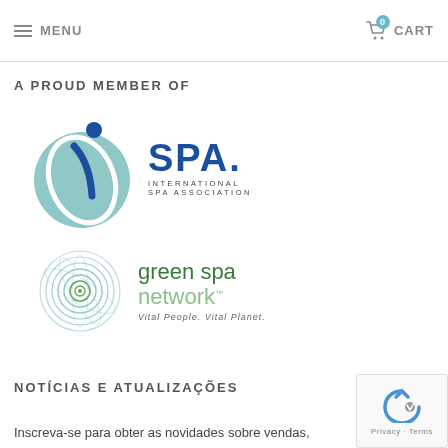MENU  CART 0
A PROUD MEMBER OF
[Figure (logo): iSPA International Spa Association logo — circular teal background with stylized italic 'i' and bold blue 'SPA.' text, with 'INTERNATIONAL SPA ASSOCIATION' subtitle]
[Figure (logo): Green Spa Network logo — concentric circles in teal/green on the left, with 'green spa network' text and tagline 'Vital People. Vital Planet.']
NOTÍCIAS E ATUALIZAÇÕES
Inscreva-se para obter as novidades sobre vendas,